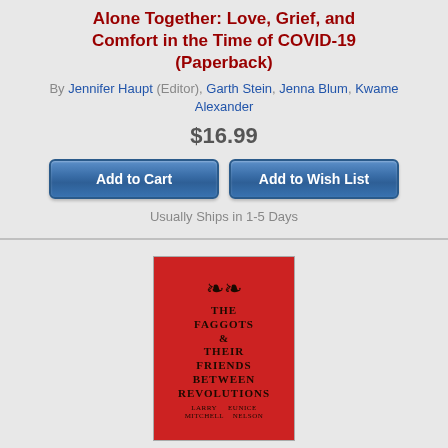Alone Together: Love, Grief, and Comfort in the Time of COVID-19 (Paperback)
By Jennifer Haupt (Editor), Garth Stein, Jenna Blum, Kwame Alexander
$16.99
Add to Cart | Add to Wish List
Usually Ships in 1-5 Days
[Figure (illustration): Red book cover of 'The Faggots & Their Friends Between Revolutions' with ornamental design at top and black text]
The Faggots and Their Friends Between Revolutions (Paperback)
By Larry Mitchell, Ned Asta (Illustrator)
$16.95